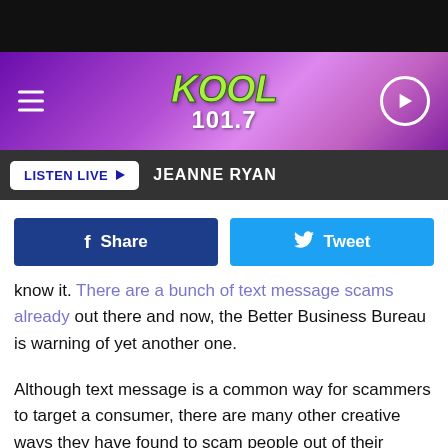[Figure (screenshot): KOOL 101.7 radio station website header with purple gradient background, hamburger menu icon on left, KOOL 101.7 logo in center, play button on right]
LISTEN LIVE ▶  JEANNE RYAN
f Share   Tweet
know it. There are a bunch of text message scams already out there and now, the Better Business Bureau is warning of yet another one.
Although text message is a common way for scammers to target a consumer, there are many other creative ways they have found to scam people out of their money and personal information.
For example, scammers have been using social media quite